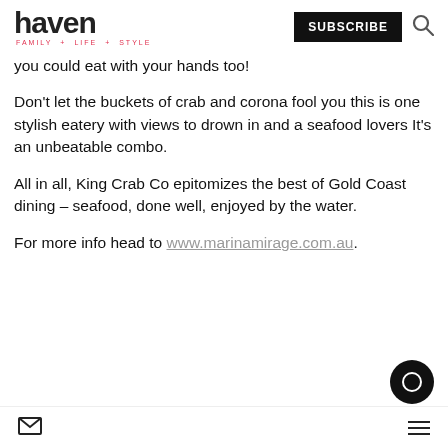haven FAMILY + LIFE + STYLE | SUBSCRIBE
you could eat with your hands too!
Don't let the buckets of crab and corona fool you this is one stylish eatery with views to drown in and a seafood lovers It's an unbeatable combo.
All in all, King Crab Co epitomizes the best of Gold Coast dining – seafood, done well, enjoyed by the water.
For more info head to www.marinamirage.com.au.
mail icon | hamburger menu